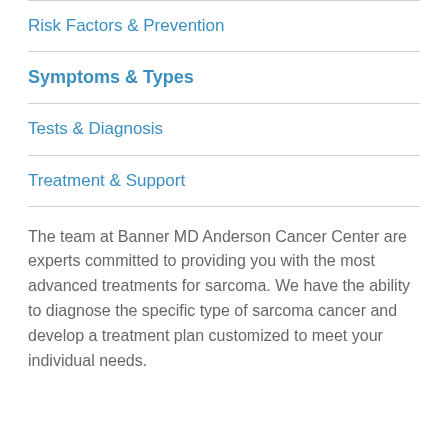Risk Factors & Prevention
Symptoms & Types
Tests & Diagnosis
Treatment & Support
The team at Banner MD Anderson Cancer Center are experts committed to providing you with the most advanced treatments for sarcoma. We have the ability to diagnose the specific type of sarcoma cancer and develop a treatment plan customized to meet your individual needs.